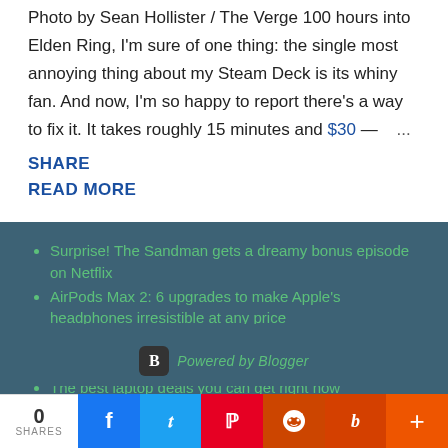Photo by Sean Hollister / The Verge 100 hours into Elden Ring, I'm sure of one thing: the single most annoying thing about my Steam Deck is its whiny fan. And now, I'm so happy to report there's a way to fix it. It takes roughly 15 minutes and $30 — ...
SHARE
READ MORE
Surprise! The Sandman gets a dreamy bonus episode on Netflix
AirPods Max 2: 6 upgrades to make Apple's headphones irresistible at any price
I am once again asking you to update your Apple devices
The best laptop deals you can get right now
Rivian customers 'enraged' after company cancels its most affordable electric truck
Powered by Blogger | 0 SHARES | Facebook | Twitter | Pinterest | Reddit | Buffer | More